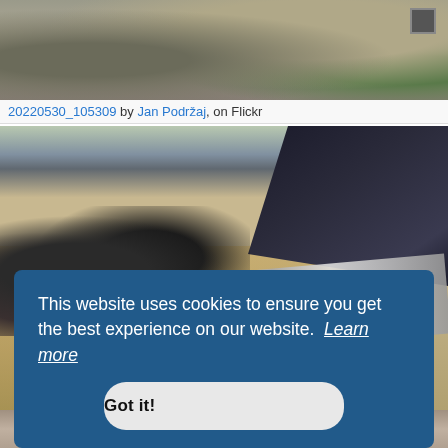[Figure (photo): Top portion of a Flickr webpage showing a gravel/stone surface photo with a small dark square element visible at top right.]
20220530_105309 by Jan Podržaj, on Flickr
[Figure (photo): Main photo showing motorcycle or vehicle parts laid out on cardboard, with a dark blue tarp-covered object in the background and a metallic rail/trim piece in the foreground.]
This website uses cookies to ensure you get the best experience on our website.  Learn more
Got it!